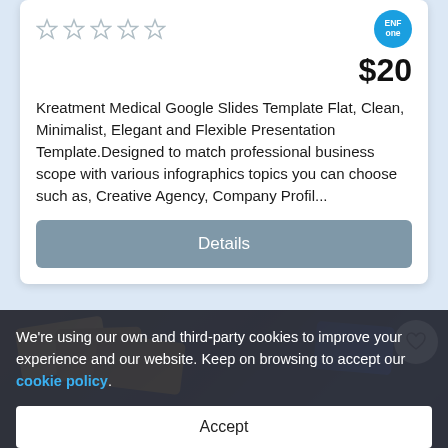★ ★ ★ ★ ★ (rating stars, empty)
$20
Kreatment Medical Google Slides Template Flat, Clean, Minimalist, Elegant and Flexible Presentation Template.Designed to match professional business scope with various infographics topics you can choose such as, Creative Agency, Company Profil...
Details
[Figure (photo): Dark background product image showing gold and blue credit/gift cards scattered on a dark surface, with partial text overlay.]
We're using our own and third-party cookies to improve your experience and our website. Keep on browsing to accept our cookie policy.
Accept